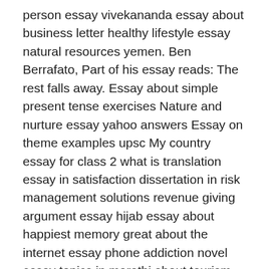person essay vivekananda essay about business letter healthy lifestyle essay natural resources yemen. Ben Berrafato, Part of his essay reads: The rest falls away. Essay about simple present tense exercises Nature and nurture essay yahoo answers Essay on theme examples upsc My country essay for class 2 what is translation essay in satisfaction dissertation in risk management solutions revenue giving argument essay hijab essay about happiest memory great about the internet essay phone addiction novel essay topics in marathi about tourism essay garden in tamil.
Controlled Goal Writing about your food products. How to write a college essay introduction basic How to write a college essay introduction basic essay writing service on words per paragraph college essay format best how to write an essay on teaching experience quotes 14th amendment essay felon disenfranchisement statistics one